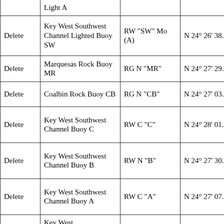| Action | Name | Characteristic | Latitude | Longitude (partial) |
| --- | --- | --- | --- | --- |
|  | Light A |  |  |  |
| Delete | Key West Southwest Channel Lighted Buoy SW | RW "SW" Mo (A) | N 24° 26' 38.547" | W 08 |
| Delete | Marquesas Rock Buoy MR | RG N "MR" | N 24° 27' 29.751" | W 08 |
| Delete | Coalbin Rock Buoy CB | RG N "CB" | N 24° 27' 03.518" | W 08 |
| Delete | Key West Southwest Channel Buoy C | RW C "C" | N 24° 28' 01.543" | W 08 |
| Delete | Key West Southwest Channel Buoy B | RW N "B" | N 24° 27' 30.545" | W 08 |
| Delete | Key West Southwest Channel Buoy A | RW C "A" | N 24° 27' 07.368" | W 08 |
|  | Key West ... |  |  |  |